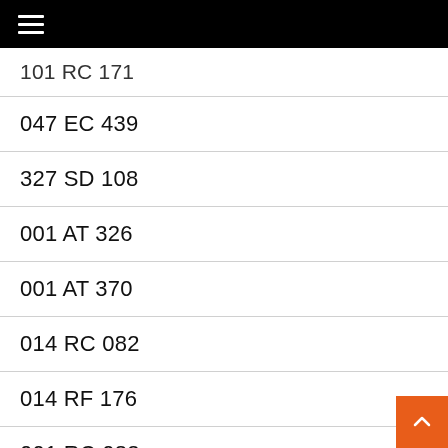≡
101 RC 171
047 EC 439
327 SD 108
001 AT 326
001 AT 370
014 RC 082
014 RF 176
001 RC 083
013 BRC 178